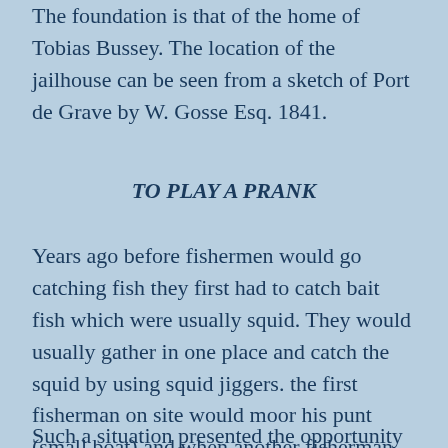The foundation is that of the home of Tobias Bussey.  The location of the jailhouse can be seen from a sketch of Port de Grave by W. Gosse Esq. 1841.
TO PLAY A PRANK
Years ago before fishermen would go catching fish they first had to catch bait fish which were usually squid.  They would usually gather in one place and catch the squid by using squid jiggers.  the first fisherman on site would moor his punt (small boat) and when another fisherman arrived he would tie on to the first.
Such a situation presented the opportunity for